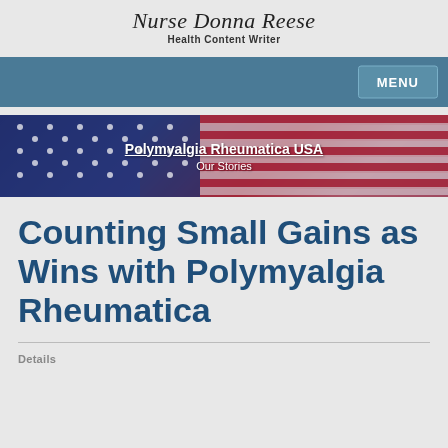Nurse Donna Reese
Health Content Writer
[Figure (screenshot): Navigation bar with teal/steel-blue background and MENU button on the right]
[Figure (illustration): Banner image with American flag (stars and stripes) background, text reads 'Polymyalgia Rheumatica USA' and 'Our Stories']
Counting Small Gains as Wins with Polymyalgia Rheumatica
Details